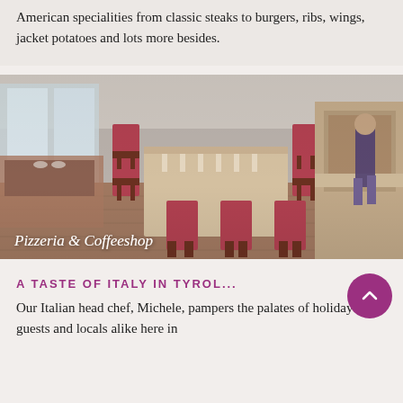American specialities from classic steaks to burgers, ribs, wings, jacket potatoes and lots more besides.
[Figure (photo): Interior of a restaurant with red chairs around long wooden tables, open kitchen visible on the right, large windows on the left, a staff member walking in the background. Overlay text reads 'Pizzeria & Coffeeshop'.]
Pizzeria & Coffeeshop
A TASTE OF ITALY IN TYROL...
Our Italian head chef, Michele, pampers the palates of holiday guests and locals alike here in